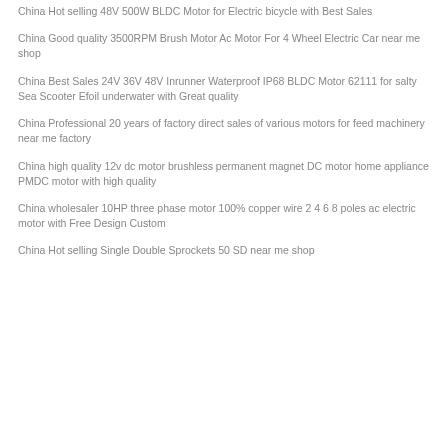China Hot selling 48V 500W BLDC Motor for Electric bicycle with Best Sales
China Good quality 3500RPM Brush Motor Ac Motor For 4 Wheel Electric Car near me shop
China Best Sales 24V 36V 48V Inrunner Waterproof IP68 BLDC Motor 62111 for salty Sea Scooter Efoil underwater with Great quality
China Professional 20 years of factory direct sales of various motors for feed machinery near me factory
China high quality 12v dc motor brushless permanent magnet DC motor home appliance PMDC motor with high quality
China wholesaler 10HP three phase motor 100% copper wire 2 4 6 8 poles ac electric motor with Free Design Custom
China Hot selling Single Double Sprockets 50 SD near me shop